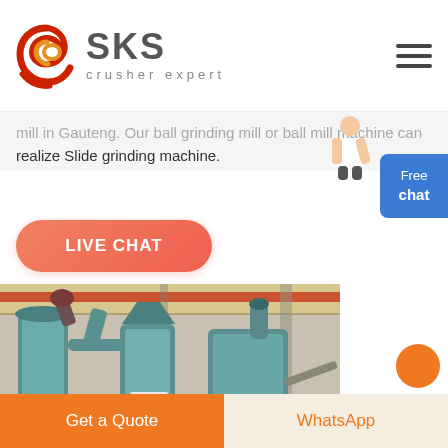[Figure (logo): SKS crusher expert logo with red/gold swirl icon and gray SKS text]
mill in Gauteng. Our ball grinding mill or ball mill machine can realize Slide grinding machine.
[Figure (other): Free chat button widget with blue background]
[Figure (photo): Live Chat orange rounded button]
[Figure (photo): Industrial grinding mill machines in a factory warehouse with workers]
Get a Quote | WhatsApp